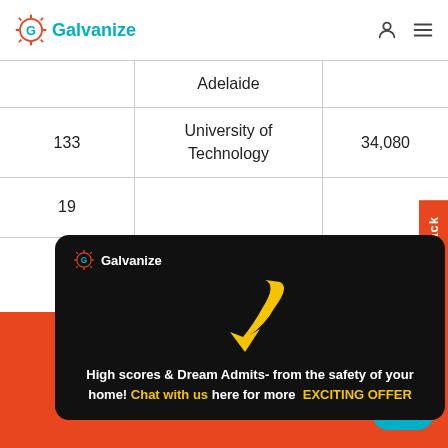Galvanize
|  |  |  |
| --- | --- | --- |
|  | Adelaide |  |
| 133 | University of Technology | 34,080 |
| 19 |  |  |
[Figure (infographic): Black popup card with Galvanize logo, large yellow arrow pointing down, and promotional text: 'High scores & Dream Admits- from the safety of your home! Chat with us here for more EXCITING OFFER']
PhD Fees in Australia for Indian Students